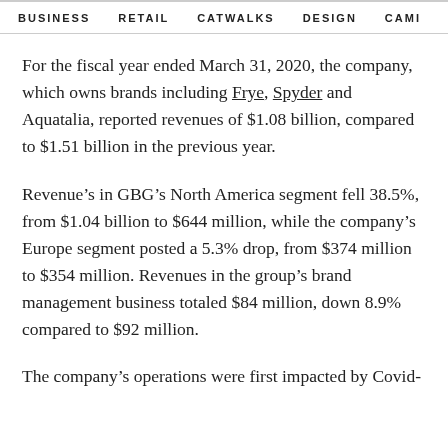BUSINESS   RETAIL   CATWALKS   DESIGN   CAMI >
For the fiscal year ended March 31, 2020, the company, which owns brands including Frye, Spyder and Aquatalia, reported revenues of $1.08 billion, compared to $1.51 billion in the previous year.
Revenue's in GBG's North America segment fell 38.5%, from $1.04 billion to $644 million, while the company's Europe segment posted a 5.3% drop, from $374 million to $354 million. Revenues in the group's brand management business totaled $84 million, down 8.9% compared to $92 million.
The company's operations were first impacted by Covid-